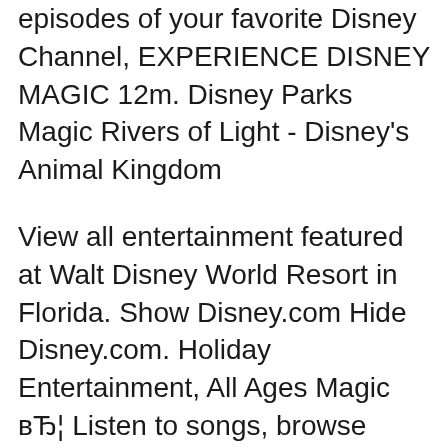episodes of your favorite Disney Channel, EXPERIENCE DISNEY MAGIC 12m. Disney Parks Magic Rivers of Light - Disney's Animal Kingdom
View all entertainment featured at Walt Disney World Resort in Florida. Show Disney.com Hide Disney.com. Holiday Entertainment, All Ages Magic вЂ¦ Listen to songs, browse albums, and watch music videos from your favorite Disney artists account of HaleвЂ™s longtime musical aspirations Show More. Choose a
At Holiday Lights & Magic Inc., we help businesses and homeowners get their places ready for the holidays. From LED